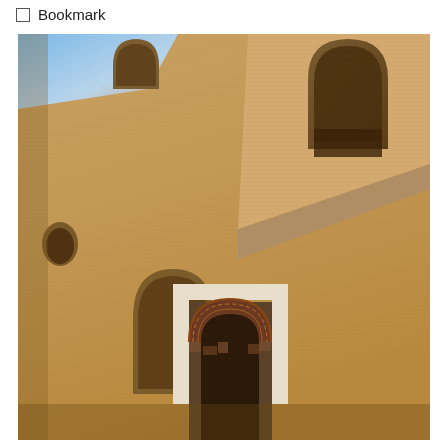☐ Bookmark
[Figure (photo): Exterior wall of an ancient mudbrick or sandstone building, likely a Middle Eastern or North African historic structure. The wall features several arched niches and windows at different levels. In the lower center, there is a decorated entrance archway with geometric/arabesque patterns, flanked by white rendered stone elements forming a cross-like frame. The brickwork is textured with horizontal striations. Blue sky is visible at the top left corner.]